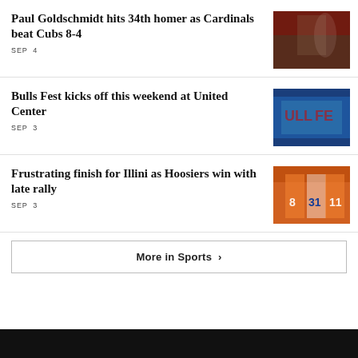Paul Goldschmidt hits 34th homer as Cardinals beat Cubs 8-4
SEP 4
[Figure (photo): Baseball game photo showing Cardinals players on field]
Bulls Fest kicks off this weekend at United Center
SEP 3
[Figure (photo): Bulls Fest banner with blue and red signage at United Center]
Frustrating finish for Illini as Hoosiers win with late rally
SEP 3
[Figure (photo): Illinois Illini football players in orange and white uniforms]
More in Sports ›